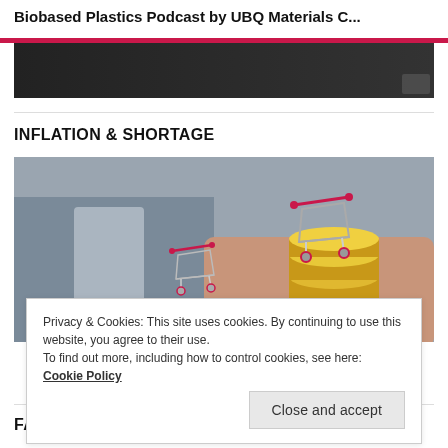Biobased Plastics Podcast by UBQ Materials C...
[Figure (screenshot): Dark video thumbnail with gray square icon in bottom right corner]
INFLATION & SHORTAGE
[Figure (photo): Photo of a person in a suit holding a miniature shopping cart over a stack of gold coins, representing inflation and shortage.]
Privacy & Cookies: This site uses cookies. By continuing to use this website, you agree to their use.
To find out more, including how to control cookies, see here: Cookie Policy
Close and accept
FAIRY TALES SERIES